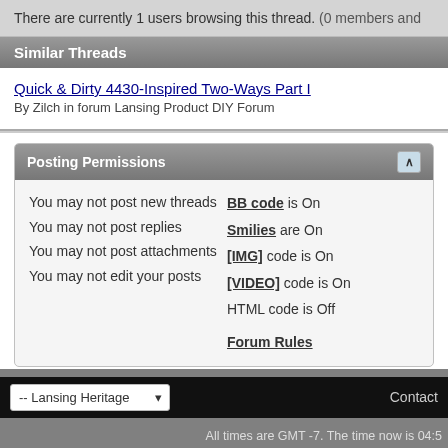There are currently 1 users browsing this thread. (0 members and
Similar Threads
Quick & Dirty 4430-Inspired Two-Ways Part I
By Zilch in forum Lansing Product DIY Forum
Posting Permissions
You may not post new threads
You may not post replies
You may not post attachments
You may not edit your posts
BB code is On
Smilies are On
[IMG] code is On
[VIDEO] code is On
HTML code is Off
Forum Rules
-- Lansing Heritage
Contact
All times are GMT -7. The time now is 04:5
Powered by vBulletin® Version 4.2.5
Copyright © 2022 vBulletin Solutions Inc. All righ
Extra Tabs by vBulletin Hispano